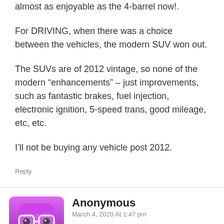almost as enjoyable as the 4-barrel now!.
For DRIVING, when there was a choice between the vehicles, the modern SUV won out.
The SUVs are of 2012 vintage, so none of the modern “enhancements” – just improvements, such as fantastic brakes, fuel injection, electronic ignition, 5-speed trans, good mileage, etc, etc.
I’ll not be buying any vehicle post 2012.
Reply
Anonymous
March 4, 2020 At 1:47 pm
Cars today have too much grip to be any fun. To me, the fun of a car is when you drive it beyond its limits, as you mention. But today, even if a car will